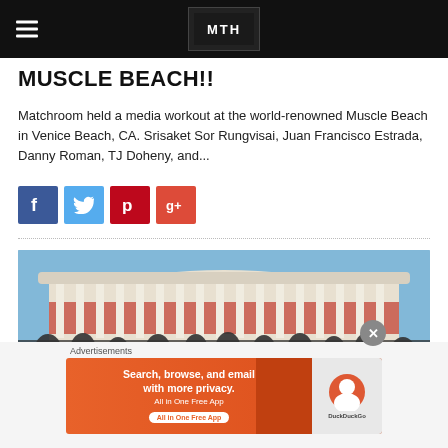MUSCLE BEACH!!
Matchroom held a media workout at the world-renowned Muscle Beach in Venice Beach, CA. Srisaket Sor Rungvisai, Juan Francisco Estrada, Danny Roman, TJ Doheny, and...
[Figure (infographic): Social sharing buttons: Facebook (blue), Twitter (light blue), Pinterest (red), Google+ (red-orange)]
[Figure (photo): Group photo of people standing outside a large circular stadium (The Forum) with arched columns, under a blue sky.]
Advertisements
[Figure (infographic): DuckDuckGo advertisement banner: 'Search, browse, and email with more privacy. All in One Free App' with DuckDuckGo logo on orange background.]